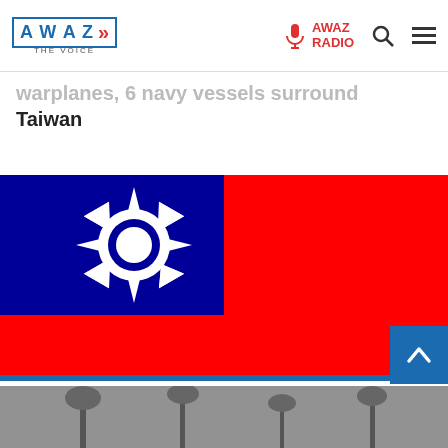AWAZ THE VOICE — AWAZ RADIO
warplanes, 6 navy vessels surround Taiwan
[Figure (illustration): Flag of Taiwan (Republic of China): red background with blue canton in upper left containing white sun with 12 triangular rays.]
Afghanistan builds 150,000-strong national ar
[Figure (photo): Black and white photograph at the bottom of the page, partially visible.]